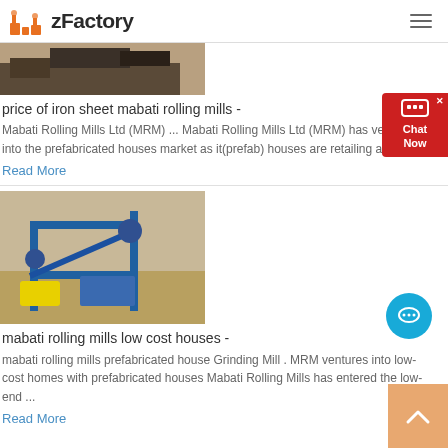zFactory
[Figure (photo): Industrial mining/construction site photo, partial view at top]
price of iron sheet mabati rolling mills -
Mabati Rolling Mills Ltd (MRM) ... Mabati Rolling Mills Ltd (MRM) has ventured into the prefabricated houses market as it(prefab) houses are retailing at &# ...
Read More
[Figure (photo): Industrial conveyor/screening plant machinery at a mining or quarry site]
mabati rolling mills low cost houses -
mabati rolling mills prefabricated house Grinding Mill . MRM ventures into low-cost homes with prefabricated houses Mabati Rolling Mills has entered the low-end ...
Read More